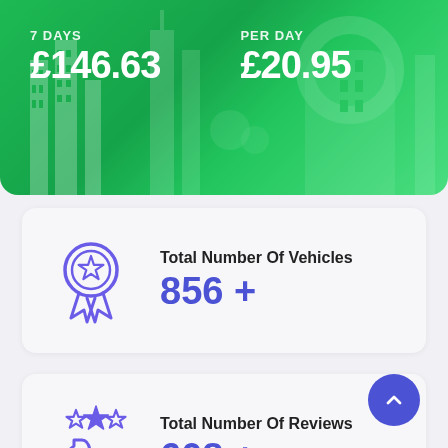[Figure (infographic): Green banner with city skyline background showing '7 DAYS £146.63' and 'PER DAY £20.95']
7 DAYS
£146.63
PER DAY
£20.95
[Figure (infographic): Card showing award/medal icon with 'Total Number Of Vehicles 856 +']
Total Number Of Vehicles
856 +
[Figure (infographic): Card showing thumbs up with stars icon with 'Total Number Of Reviews 608 +']
Total Number Of Reviews
608 +